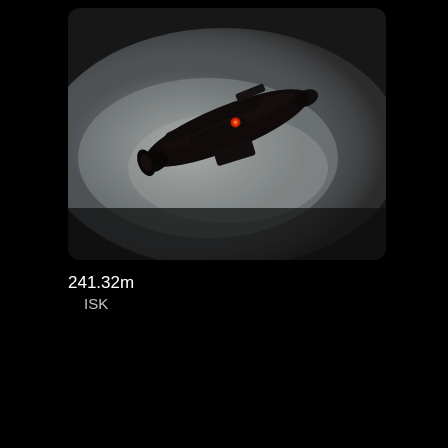[Figure (photo): A dark spaceship rendered against a pale grey/white misty background. The ship is elongated with a dark hull, featuring a small red light near the center and what appear to be secondary wing or thruster structures. The image is framed with rounded corners.]
241.32m
    ISK